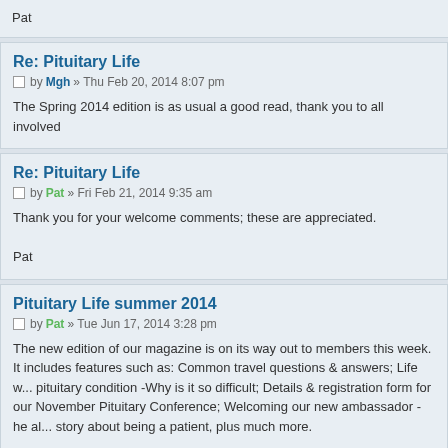Pat
Re: Pituitary Life
by Mgh » Thu Feb 20, 2014 8:07 pm
The Spring 2014 edition is as usual a good read, thank you to all involved
Re: Pituitary Life
by Pat » Fri Feb 21, 2014 9:35 am
Thank you for your welcome comments; these are appreciated.

Pat
Pituitary Life summer 2014
by Pat » Tue Jun 17, 2014 3:28 pm
The new edition of our magazine is on its way out to members this week. It includes features such as: Common travel questions & answers; Life w... pituitary condition -Why is it so difficult; Details & registration form for our November Pituitary Conference; Welcoming our new ambassador - he al... story about being a patient, plus much more.